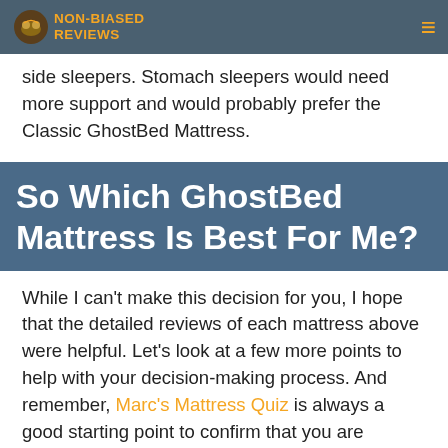NON-BIASED REVIEWS
side sleepers. Stomach sleepers would need more support and would probably prefer the Classic GhostBed Mattress.
So Which GhostBed Mattress Is Best For Me?
While I can't make this decision for you, I hope that the detailed reviews of each mattress above were helpful. Let's look at a few more points to help with your decision-making process. And remember, Marc's Mattress Quiz is always a good starting point to confirm that you are picking the right mattress!